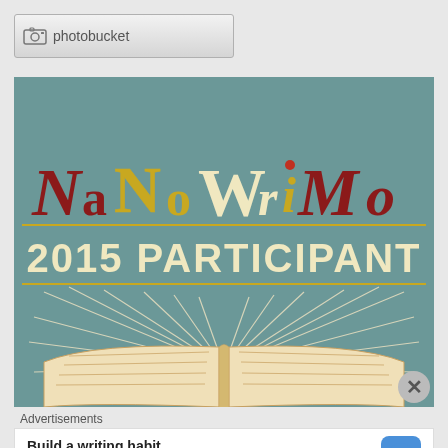[Figure (screenshot): Photobucket placeholder image bar with camera icon and 'photobucket' text]
[Figure (illustration): NaNoWriMo 2015 Participant badge with teal background, decorative lettering spelling NaNoWriMo, '2015 PARTICIPANT' text, and illustration of an open book with radiating lines]
Advertisements
[Figure (infographic): WordPress app advertisement: 'Build a writing habit. Post on the go.' with GET THE APP button and WordPress logo]